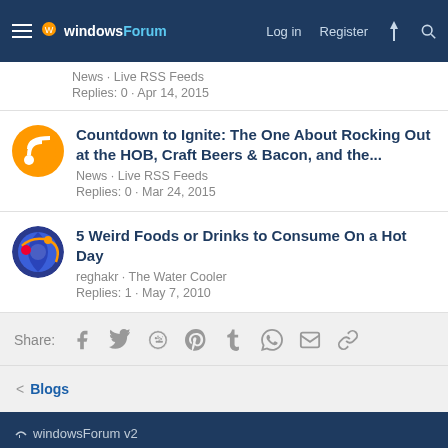windowsForum — Log in | Register
News · Live RSS Feeds
Replies: 0 · Apr 14, 2015
Countdown to Ignite: The One About Rocking Out at the HOB, Craft Beers & Bacon, and the...
News · Live RSS Feeds
Replies: 0 · Mar 24, 2015
5 Weird Foods or Drinks to Consume On a Hot Day
reghakr · The Water Cooler
Replies: 1 · May 7, 2010
Share: Facebook Twitter Reddit Pinterest Tumblr WhatsApp Email Link
< Blogs
windowsForum v2
Contact us · Terms and rules · Privacy policy · Help · Home